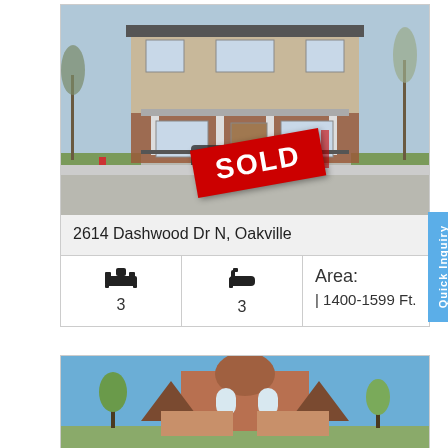[Figure (photo): Exterior photo of a two-storey brick and siding townhouse with a covered porch. A SOLD sign in red is overlaid diagonally on the lower portion of the photo.]
2614 Dashwood Dr N, Oakville
| Beds | Baths | Area |
| --- | --- | --- |
| 3 | 3 | Area: | 1400-1599 Ft. |
[Figure (photo): Exterior photo of a large brick house with arched windows and a prominent peaked roof, viewed from the street on a sunny day.]